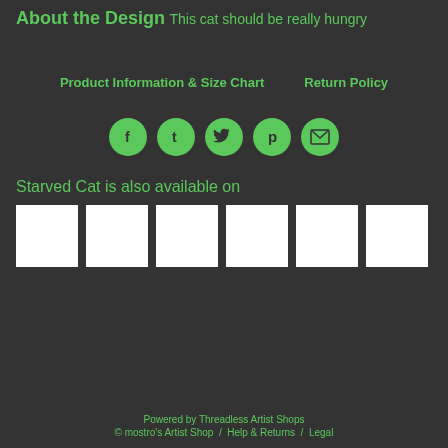About the Design
This cat should be really hungry
Product Information & Size Chart    Return Policy
[Figure (infographic): Five social media share icons: Facebook (f), Tumblr (t), Twitter bird, Pinterest (p), and Email (envelope), each in a green circle]
Starved Cat is also available on
[Figure (infographic): Six white product image thumbnails arranged in a row]
Powered by Threadless Artist Shops
© mostro's Artist Shop  /  Help & Returns  /  Legal